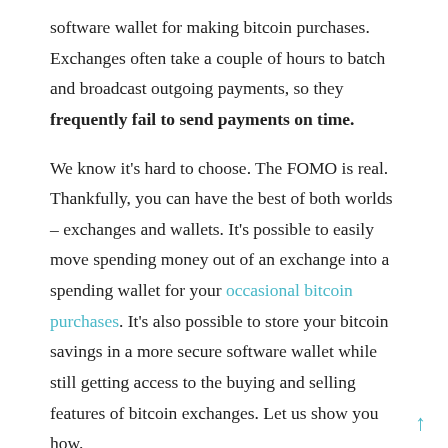software wallet for making bitcoin purchases. Exchanges often take a couple of hours to batch and broadcast outgoing payments, so they frequently fail to send payments on time.
We know it's hard to choose. The FOMO is real. Thankfully, you can have the best of both worlds – exchanges and wallets. It's possible to easily move spending money out of an exchange into a spending wallet for your occasional bitcoin purchases. It's also possible to store your bitcoin savings in a more secure software wallet while still getting access to the buying and selling features of bitcoin exchanges. Let us show you how.